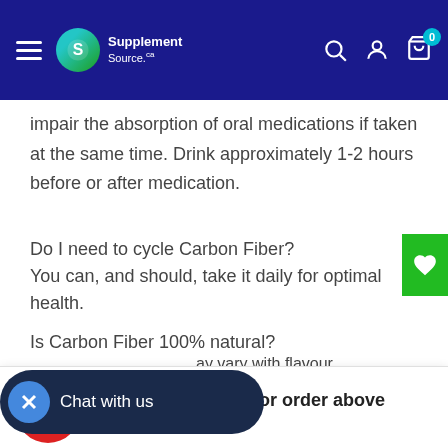SupplementSource.ca — navigation header
impair the absorption of oral medications if taken at the same time. Drink approximately 1-2 hours before or after medication.
Do I need to cycle Carbon Fiber?
You can, and should, take it daily for optimal health.
Is Carbon Fiber 100% natural?
15% cart discount for order above $149.00 CAD
ay vary with flavour.
Chat with us
[Figure (logo): TrustedSite CERTIFIED SECURE badge]